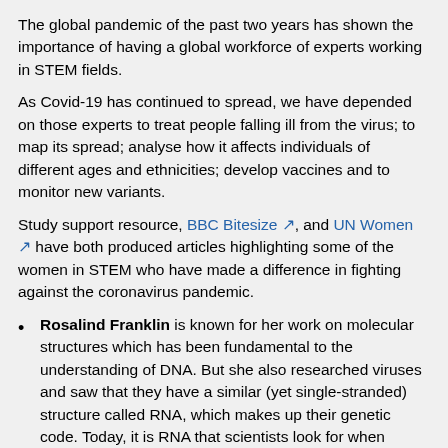The global pandemic of the past two years has shown the importance of having a global workforce of experts working in STEM fields.
As Covid-19 has continued to spread, we have depended on those experts to treat people falling ill from the virus; to map its spread; analyse how it affects individuals of different ages and ethnicities; develop vaccines and to monitor new variants.
Study support resource, BBC Bitesize ↗, and UN Women ↗ have both produced articles highlighting some of the women in STEM who have made a difference in fighting against the coronavirus pandemic.
Rosalind Franklin is known for her work on molecular structures which has been fundamental to the understanding of DNA. But she also researched viruses and saw that they have a similar (yet single-stranded) structure called RNA, which makes up their genetic code. Today, it is RNA that scientists look for when testing for coronavirus cases
Kizzmekia Corbett is co-lead of a team that developed the American Moderna vaccine. A viral